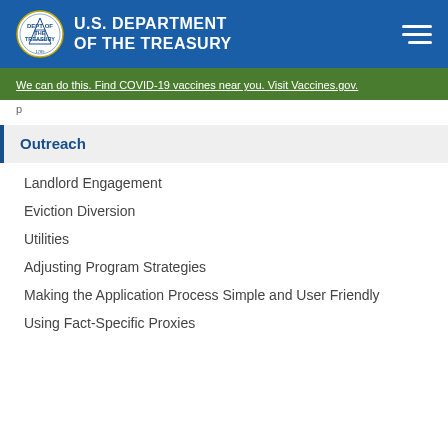U.S. DEPARTMENT OF THE TREASURY
We can do this. Find COVID-19 vaccines near you. Visit Vaccines.gov.
Outreach
Landlord Engagement
Eviction Diversion
Utilities
Adjusting Program Strategies
Making the Application Process Simple and User Friendly
Using Fact-Specific Proxies